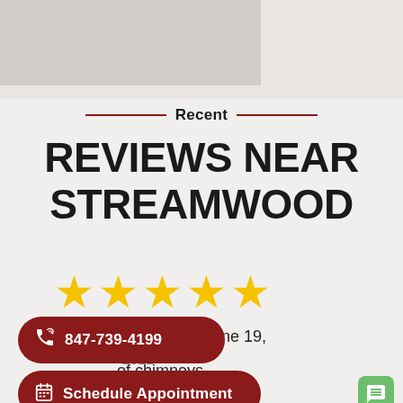[Figure (photo): Partial gray background image at top of page, appears to be a photo of a building or chimney]
Recent
REVIEWS NEAR STREAMWOOD
[Figure (infographic): Five gold star rating icons]
review on June 19, 2022
Excellent assessment of chimneys condition and repairs needed make chimneys functional and safe.
[Figure (infographic): Call button: 847-739-4199]
[Figure (infographic): Schedule Appointment button]